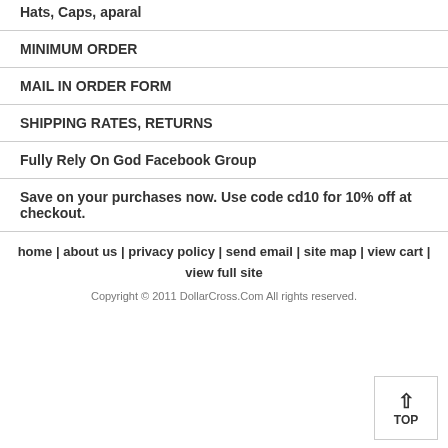Hats, Caps, aparal
MINIMUM ORDER
MAIL IN ORDER FORM
SHIPPING RATES, RETURNS
Fully Rely On God Facebook Group
Save on your purchases now. Use code cd10 for 10% off at checkout.
home | about us | privacy policy | send email | site map | view cart | view full site
Copyright © 2011 DollarCross.Com All rights reserved.